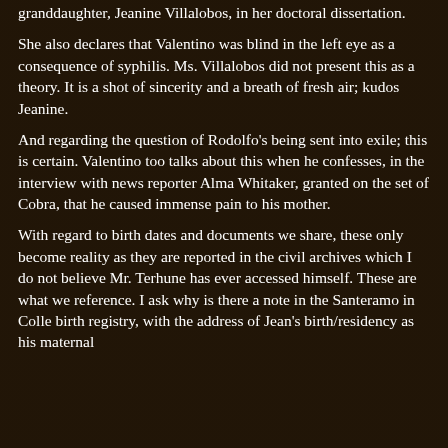significant translation is also made by his great-granddaughter, Jeanine Villalobos, in her doctoral dissertation.
She also declares that Valentino was blind in the left eye as a consequence of syphilis. Ms. Villalobos did not present this as a theory. It is a shot of sincerity and a breath of fresh air; kudos Jeanine.
And regarding the question of Rodolfo's being sent into exile; this is certain. Valentino too talks about this when he confesses, in the interview with news reporter Alma Whitaker, granted on the set of Cobra, that he caused immense pain to his mother.
With regard to birth dates and documents we share, these only become reality as they are reported in the civil archives which I do not believe Mr. Terhune has ever accessed himself. These are what we reference. I ask why is there a note in the Santeramo in Colle birth registry, with the address of Jean's birth/residency as his maternal